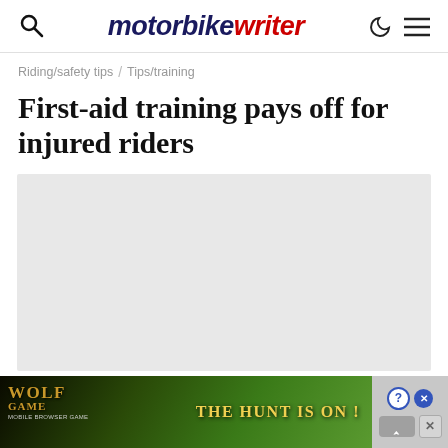motorbike writer
Riding/safety tips / Tips/training
First-aid training pays off for injured riders
[Figure (photo): Light grey placeholder image area for article photo]
[Figure (other): Wolf Game advertisement banner at bottom of page with text 'WOLF GAME' and 'THE HUNT IS ON!']